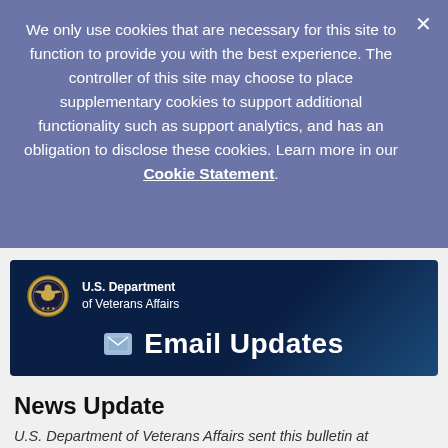We only use cookies that are necessary for this site to function to provide you with the best experience. The controller of this site may choose to place supplementary cookies to support additional functionality such as support analytics, and has an obligation to disclose these cookies. Learn more in our Cookie Statement.
[Figure (screenshot): U.S. Department of Veterans Affairs Email Updates banner with seal logo]
News Update
U.S. Department of Veterans Affairs sent this bulletin at 12/31/2021 04:00 PM EST